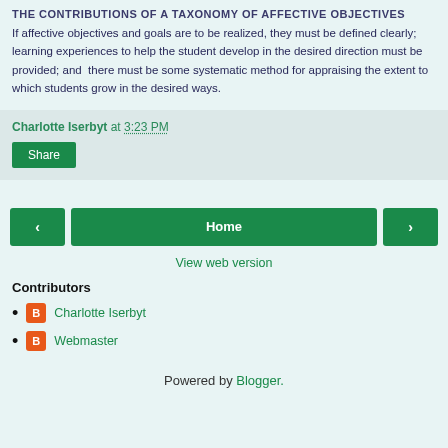THE CONTRIBUTIONS OF A TAXONOMY OF AFFECTIVE OBJECTIVES
If affective objectives and goals are to be realized, they must be defined clearly; learning experiences to help the student develop in the desired direction must be provided; and there must be some systematic method for appraising the extent to which students grow in the desired ways.
Charlotte Iserbyt at 3:23 PM
Share
Home
View web version
Contributors
Charlotte Iserbyt
Webmaster
Powered by Blogger.